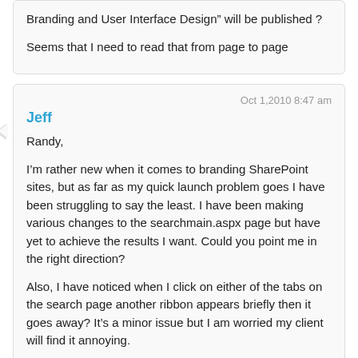Branding and User Interface Design” will be published ?

Seems that I need to read that from page to page
Oct 1,2010 8:47 am
Jeff
Randy,

I’m rather new when it comes to branding SharePoint sites, but as far as my quick launch problem goes I have been struggling to say the least. I have been making various changes to the searchmain.aspx page but have yet to achieve the results I want. Could you point me in the right direction?

Also, I have noticed when I click on either of the tabs on the search page another ribbon appears briefly then it goes away? It’s a minor issue but I am worried my client will find it annoying.

Your blog has been a huge help during this process and I for one will definitely be picking up a copy of your book.